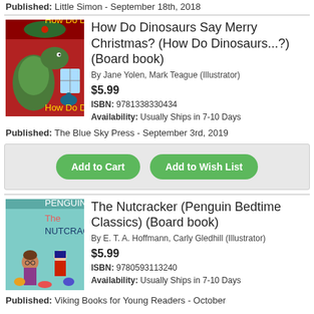Published: Little Simon - September 18th, 2018
[Figure (illustration): Book cover of 'How Do Dinosaurs Say Merry Christmas?' showing a green dinosaur with Christmas decorations on a red background]
How Do Dinosaurs Say Merry Christmas? (How Do Dinosaurs...?) (Board book)
By Jane Yolen, Mark Teague (Illustrator)
$5.99
ISBN: 9781338330434
Availability: Usually Ships in 7-10 Days
Published: The Blue Sky Press - September 3rd, 2019
Add to Cart
Add to Wish List
[Figure (illustration): Book cover of 'The Nutcracker (Penguin Bedtime Classics)' showing illustrated children and nutcracker on a teal background]
The Nutcracker (Penguin Bedtime Classics) (Board book)
By E. T. A. Hoffmann, Carly Gledhill (Illustrator)
$5.99
ISBN: 9780593113240
Availability: Usually Ships in 7-10 Days
Published: Viking Books for Young Readers - October